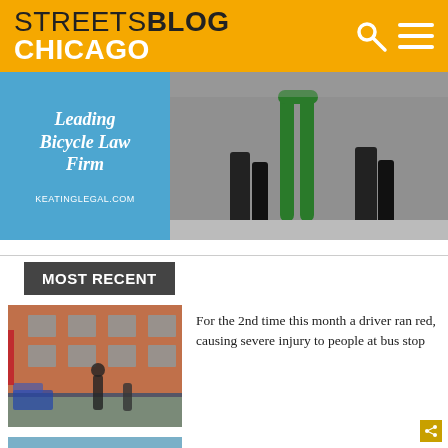STREETSBLOG CHICAGO
[Figure (photo): Advertisement banner for Keating Legal - Leading Bicycle Law Firm at keatinglegal.com, with photo of people walking on a sidewalk]
MOST RECENT
[Figure (photo): Street scene with brick building and police officers at a crime scene]
For the 2nd time this month a driver ran red, causing severe injury to people at bus stop
[Figure (photo): Portrait photo of a person wearing sunglasses outdoors near water]
During a weekend of street races, a speeding driver killed Shawman Meireis, 40, on foot